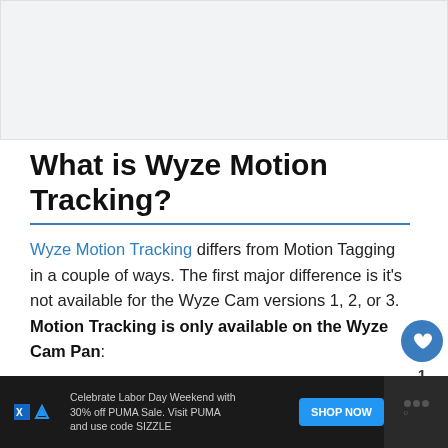[Figure (other): Gray placeholder image area at the top of the page]
What is Wyze Motion Tracking?
Wyze Motion Tracking differs from Motion Tagging in a couple of ways. The first major difference is it's not available for the Wyze Cam versions 1, 2, or 3. Motion Tracking is only available on the Wyze Cam Pan:
[Figure (other): Advertisement banner: Celebrate Labor Day Weekend with 30% off PUMA Sale. Visit PUMA and use code SIZZLE. SHOP NOW button.]